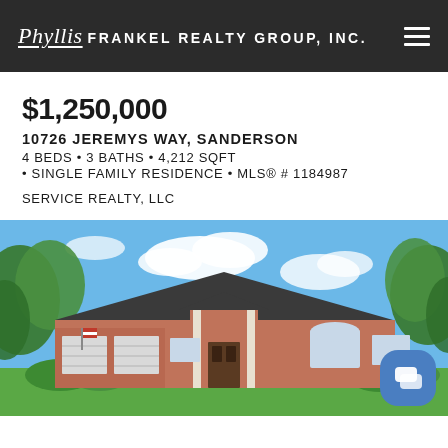Phyllis FRANKEL REALTY GROUP, INC.
$1,250,000
10726 JEREMYS WAY, SANDERSON
4 BEDS • 3 BATHS • 4,212 SQFT
• SINGLE FAMILY RESIDENCE • MLS® # 1184987
SERVICE REALTY, LLC
[Figure (photo): Exterior photo of a single-story brick home with a three-car garage, covered entrance with columns, arched window, lush green trees, and a blue sky with white clouds.]